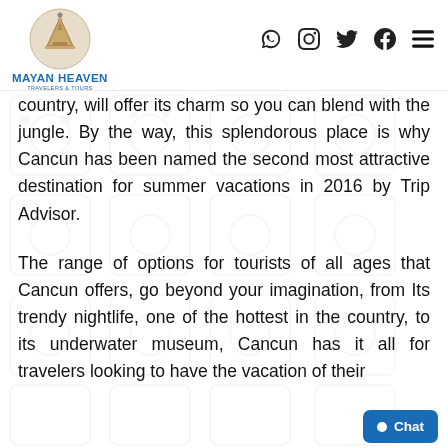[Figure (logo): Mayan Heaven Travelers & Tours logo with circular emblem showing Mayan pyramid and text below]
[Figure (other): Social media icons: WhatsApp, Instagram, Twitter, Facebook, and hamburger menu]
country, will offer its charm so you can blend with the jungle. By the way, this splendorous place is why Cancun has been named the second most attractive destination for summer vacations in 2016 by Trip Advisor.
The range of options for tourists of all ages that Cancun offers, go beyond your imagination, from Its trendy nightlife, one of the hottest in the country, to its underwater museum, Cancun has it all for travelers looking to have the vacation of their